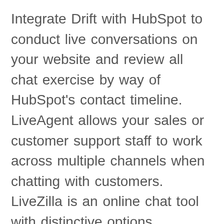Integrate Drift with HubSpot to conduct live conversations on your website and review all chat exercise by way of HubSpot’s contact timeline. LiveAgent allows your sales or customer support staff to work across multiple channels when chatting with customers. LiveZilla is an online chat tool with distinctive options corresponding to multi-website support, screen sharing, real-time translation, and a world knowledge base. Bots ship computerized greetings to speed up your response time, and customizable pre-chat surveys help you qualify leads before speaking to a rep. Staying anonymous on a platform and talking to folks